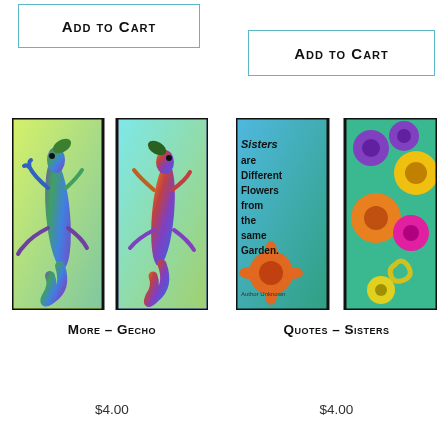ADD TO CART
ADD TO CART
[Figure (illustration): Two bookmarks side by side showing colorful gecko/lizard designs on green-blue gradient backgrounds]
[Figure (illustration): Two bookmarks side by side - left has text 'Sisters are Different Flowers from the Same Garden.' on colorful flower background, right shows bright flowers]
MORE – GECHO
$4.00
QUOTES – SISTERS
$4.00